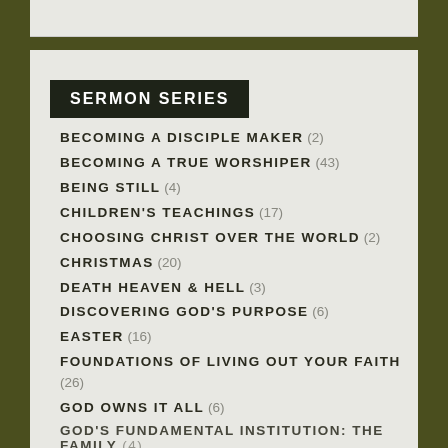SERMON SERIES
BECOMING A DISCIPLE MAKER (2)
BECOMING A TRUE WORSHIPER (43)
BEING STILL (4)
CHILDREN'S TEACHINGS (17)
CHOOSING CHRIST OVER THE WORLD (2)
CHRISTMAS (20)
DEATH HEAVEN & HELL (3)
DISCOVERING GOD'S PURPOSE (6)
EASTER (16)
FOUNDATIONS OF LIVING OUT YOUR FAITH (26)
GOD OWNS IT ALL (6)
GOD'S FUNDAMENTAL INSTITUTION: THE FAMILY (4)